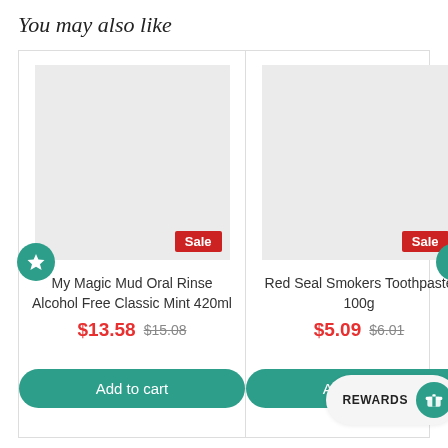You may also like
[Figure (screenshot): Product card: My Magic Mud Oral Rinse Alcohol Free Classic Mint 420ml, Sale badge, price $13.58 (was $15.08), Add to cart button, star/wishlist icon]
[Figure (screenshot): Product card: Red Seal Smokers Toothpaste 100g, Sale badge, price $5.09 (was $6.01), Add to cart button, heart/wishlist icon, REWARDS button]